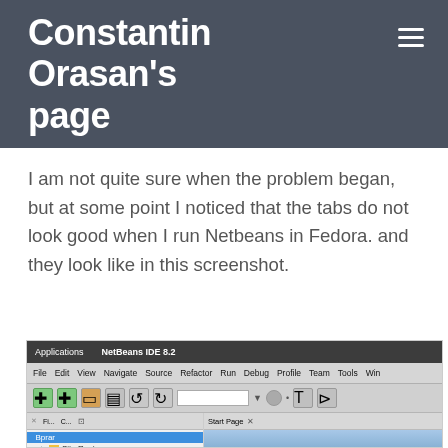Constantin Orasan's page
I am not quite sure when the problem began, but at some point I noticed that the tabs do not look good when I run Netbeans in Fedora. and they look like in this screenshot.
[Figure (screenshot): Screenshot of NetBeans IDE 8.2 running on Fedora, showing the application window with title bar, menu bar (File, Edit, View, Navigate, Source, Refactor, Run, Debug, Profile, Team, Tools, Win...), toolbar, a project tree panel on the left with items 'Bprar', 'Site Root', 'Remote Files', 'SionTanaer', and a 'Start Page' tab on the right.]